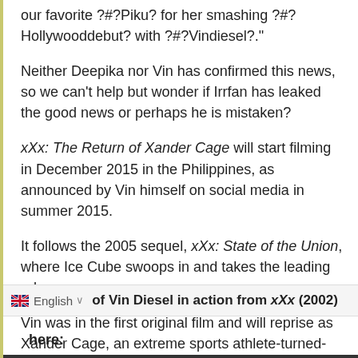our favorite ?#?Piku? for her smashing ?#?Hollywooddebut? with ?#?Vindiesel?."
Neither Deepika nor Vin has confirmed this news, so we can't help but wonder if Irrfan has leaked the good news or perhaps he is mistaken?
xXx: The Return of Xander Cage will start filming in December 2015 in the Philippines, as announced by Vin himself on social media in summer 2015.
It follows the 2005 sequel, xXx: State of the Union, where Ice Cube swoops in and takes the leading role.
Vin was in the first original film and will reprise as Xander Cage, an extreme sports athlete-turned-spy in the third instalment.
of Vin Diesel in action from xXx (2002) here: